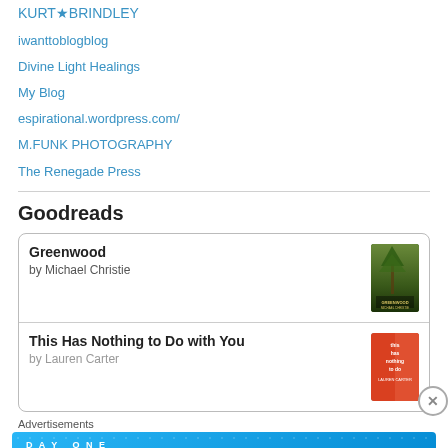KURT★BRINDLEY
iwanttoblogblog
Divine Light Healings
My Blog
espirational.wordpress.com/
M.FUNK PHOTOGRAPHY
The Renegade Press
Goodreads
[Figure (other): Goodreads widget showing two book entries. First book: 'Greenwood' by Michael Christie with forest cover image. Second book: 'This Has Nothing to Do with You' by Lauren Carter with orange cover image.]
Advertisements
[Figure (infographic): Day One app advertisement banner with blue background. Text reads 'The only journaling app you'll ever need.' Shows icons of journal, person, and notepad.]